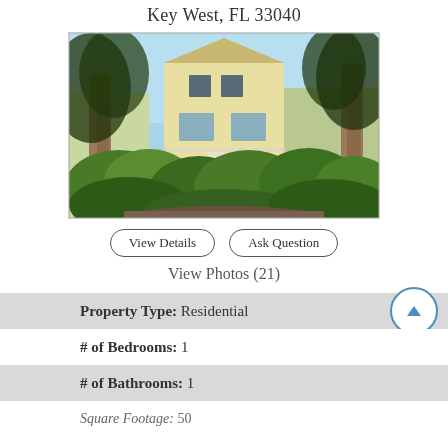Key West, FL 33040
[Figure (photo): Exterior photo of a two-story yellow residential house in Key West, Florida, surrounded by tropical plants and trees]
View Details
Ask Question
View Photos (21)
Property Type: Residential
# of Bedrooms: 1
# of Bathrooms: 1
Square Footage: 50